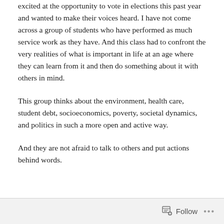excited at the opportunity to vote in elections this past year and wanted to make their voices heard. I have not come across a group of students who have performed as much service work as they have. And this class had to confront the very realities of what is important in life at an age where they can learn from it and then do something about it with others in mind.
This group thinks about the environment, health care, student debt, socioeconomics, poverty, societal dynamics, and politics in such a more open and active way.
And they are not afraid to talk to others and put actions behind words.
Follow